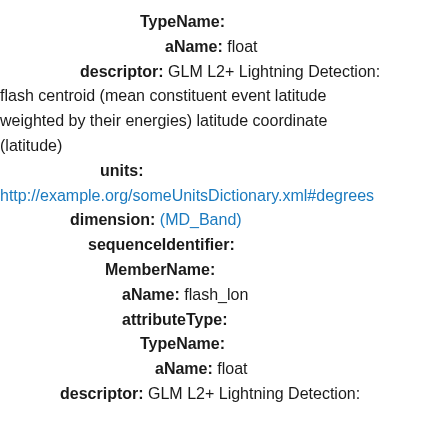TypeName:
aName: float
descriptor: GLM L2+ Lightning Detection: flash centroid (mean constituent event latitude weighted by their energies) latitude coordinate (latitude)
units:
http://example.org/someUnitsDictionary.xml#degrees
dimension: (MD_Band)
sequenceIdentifier:
MemberName:
aName: flash_lon
attributeType:
TypeName:
aName: float
descriptor: GLM L2+ Lightning Detection: